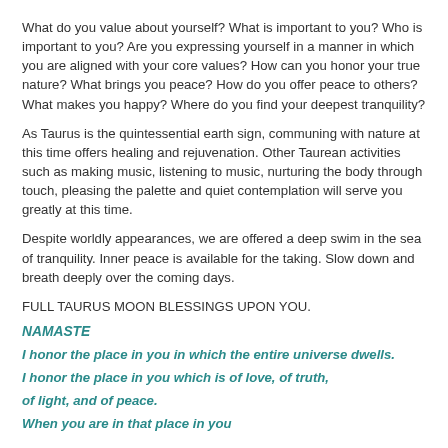What do you value about yourself? What is important to you? Who is important to you? Are you expressing yourself in a manner in which you are aligned with your core values? How can you honor your true nature? What brings you peace? How do you offer peace to others? What makes you happy? Where do you find your deepest tranquility?
As Taurus is the quintessential earth sign, communing with nature at this time offers healing and rejuvenation. Other Taurean activities such as making music, listening to music, nurturing the body through touch, pleasing the palette and quiet contemplation will serve you greatly at this time.
Despite worldly appearances, we are offered a deep swim in the sea of tranquility. Inner peace is available for the taking. Slow down and breath deeply over the coming days.
FULL TAURUS MOON BLESSINGS UPON YOU.
NAMASTE
I honor the place in you in which the entire universe dwells.
I honor the place in you which is of love, of truth,
of light, and of peace.
When you are in that place in you